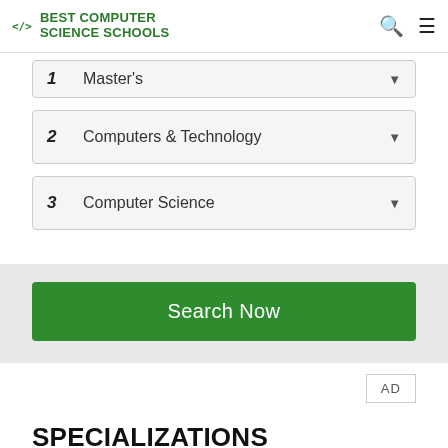</> BEST COMPUTER SCIENCE SCHOOLS
[Figure (screenshot): Form with three dropdown selects: 1 Master's, 2 Computers & Technology, 3 Computer Science, and a green Search Now button]
AD
SPECIALIZATIONS
An online master's degree in